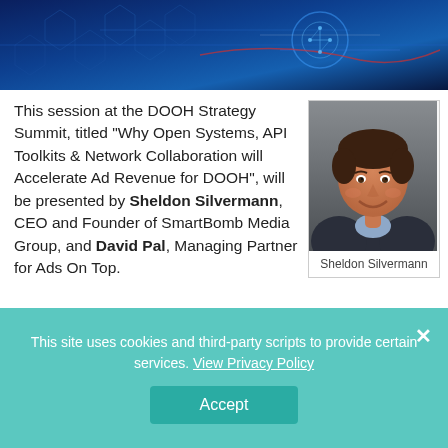[Figure (photo): Technology/network themed banner image with dark blue tones, hexagonal patterns and digital/circuit elements]
This session at the DOOH Strategy Summit, titled "Why Open Systems, API Toolkits & Network Collaboration will Accelerate Ad Revenue for DOOH", will be presented by Sheldon Silvermann, CEO and Founder of SmartBomb Media Group, and David Pal, Managing Partner for Ads On Top.
[Figure (photo): Headshot photo of Sheldon Silvermann, a man in a dark suit jacket smiling, with grey background]
Sheldon Silvermann
The presentation will discuss how the DOOH ecosystem is comprised of many different networks, platforms, technologies...
This site uses cookies and third-party scripts to provide certain services. View Privacy Policy